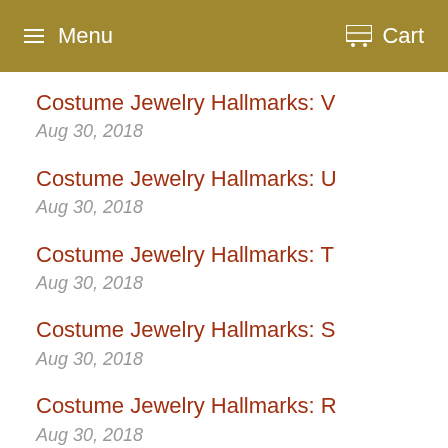Menu  Cart
Costume Jewelry Hallmarks: V
Aug 30, 2018
Costume Jewelry Hallmarks: U
Aug 30, 2018
Costume Jewelry Hallmarks: T
Aug 30, 2018
Costume Jewelry Hallmarks: S
Aug 30, 2018
Costume Jewelry Hallmarks: R
Aug 30, 2018
Costume Jewelry Hallmarks: Q
Aug 29, 2018